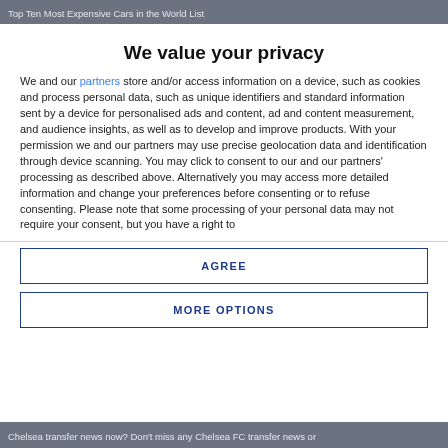Top Ten Most Expensive Cars in the World List
We value your privacy
We and our partners store and/or access information on a device, such as cookies and process personal data, such as unique identifiers and standard information sent by a device for personalised ads and content, ad and content measurement, and audience insights, as well as to develop and improve products. With your permission we and our partners may use precise geolocation data and identification through device scanning. You may click to consent to our and our partners' processing as described above. Alternatively you may access more detailed information and change your preferences before consenting or to refuse consenting. Please note that some processing of your personal data may not require your consent, but you have a right to
AGREE
MORE OPTIONS
Chelsea transfer news now? Don't miss any Chelsea FC transfer news or